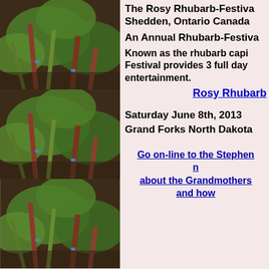[Figure (photo): Three repeated photographs of rhubarb plants with large green leaves and red/green stalks growing in dark soil, stacked vertically in the left column]
The Rosy Rhubarb-Festival Shedden, Ontario Canada
An Annual Rhubarb-Festival
Known as the rhubarb capital, the Festival provides 3 full days of entertainment.
Rosy Rhubarb
Saturday June 8th, 2013
Grand Forks North Dakota
Go on-line to the Stephen about the Grandmothers and how
n